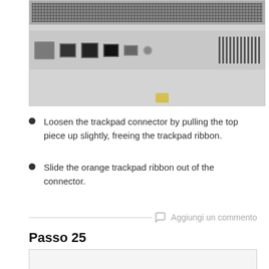[Figure (photo): Close-up photo of laptop rear ports including ethernet, USB ports, and audio jack, with ventilation grille on the right side]
Loosen the trackpad connector by pulling the top piece up slightly, freeing the trackpad ribbon.
Slide the orange trackpad ribbon out of the connector.
Aggiungi un commento
Passo 25
[Figure (photo): Partial view of next step photo (bottom of page, cropped)]